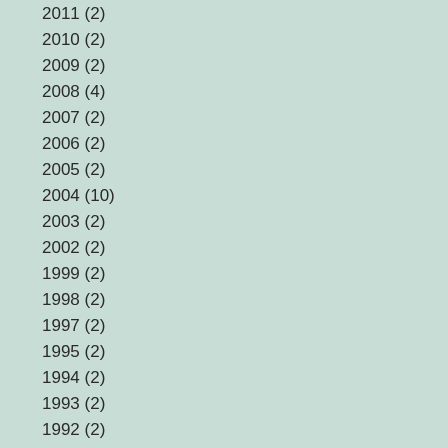2011 (2)
2010 (2)
2009 (2)
2008 (4)
2007 (2)
2006 (2)
2005 (2)
2004 (10)
2003 (2)
2002 (2)
1999 (2)
1998 (2)
1997 (2)
1995 (2)
1994 (2)
1993 (2)
1992 (2)
1991 (2)
1990 (2)